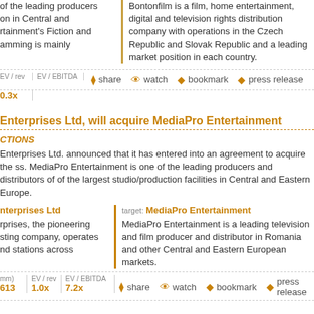of the leading producers on in Central and rtainment's Fiction and amming is mainly
Bontonfilm is a film, home entertainment, digital and television rights distribution company with operations in the Czech Republic and Slovak Republic and a leading market position in each country.
EV / rev  EV / EBITDA  share  watch  bookmark  press release
0.3x
Enterprises Ltd, will acquire MediaPro Entertainment
CTIONS
Enterprises Ltd. announced that it has entered into an agreement to acquire the ss. MediaPro Entertainment is one of the leading producers and distributors of of the largest studio/production facilities in Central and Eastern Europe.
nterprises Ltd
target: MediaPro Entertainment
rprises, the pioneering sting company, operates nd stations across
MediaPro Entertainment is a leading television and film producer and distributor in Romania and other Central and Eastern European markets.
mm)  EV / rev  EV / EBITDA  share  watch  bookmark  press release
613  1.0x  7.2x